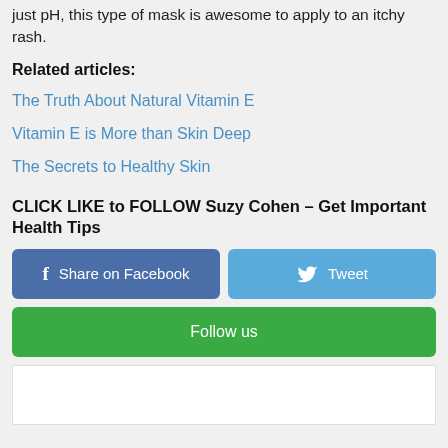just pH, this type of mask is awesome to apply to an itchy rash.
Related articles:
The Truth About Natural Vitamin E
Vitamin E is More than Skin Deep
The Secrets to Healthy Skin
CLICK LIKE to FOLLOW Suzy Cohen – Get Important Health Tips
Share on Facebook | Tweet | Follow us